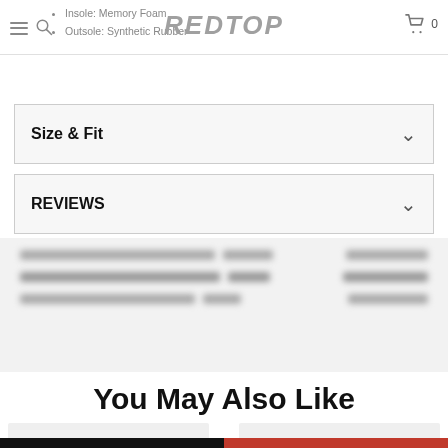Insole: Memory Foam | Outsole: Synthetic Rubber | REDTOP | Cart: 0
Insole: Memory Foam
Outsole: Synthetic Rubber
Size & Fit
REVIEWS
[Figure (screenshot): Blurred/redacted content rows with grey blocks, likely a size chart or review table]
You May Also Like
[Figure (photo): Two partially visible product card thumbnails at bottom of page]